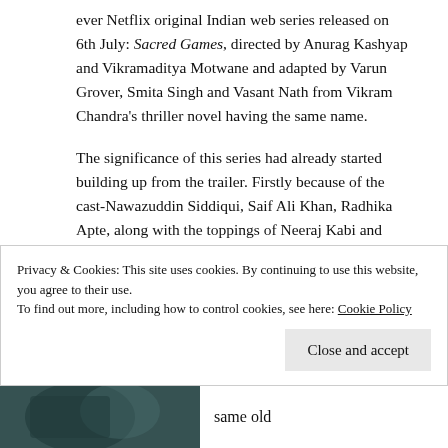ever Netflix original Indian web series released on 6th July: Sacred Games, directed by Anurag Kashyap and Vikramaditya Motwane and adapted by Varun Grover, Smita Singh and Vasant Nath from Vikram Chandra's thriller novel having the same name.
The significance of this series had already started building up from the trailer. Firstly because of the cast-Nawazuddin Siddiqui, Saif Ali Khan, Radhika Apte, along with the toppings of Neeraj Kabi and Marathi big shots Jitendra Joshi, Girish Kulkarni all together in the same place!-and secondly, because it is the first Indian Netflix original thriller series, curiosity was at is peak. From the trailer (I haven't
Privacy & Cookies: This site uses cookies. By continuing to use this website, you agree to their use.
To find out more, including how to control cookies, see here: Cookie Policy
Close and accept
same old